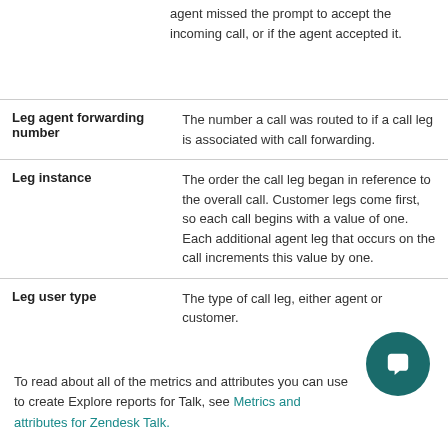agent missed the prompt to accept the incoming call, or if the agent accepted it.
| Leg agent forwarding number | The number a call was routed to if a call leg is associated with call forwarding. |
| Leg instance | The order the call leg began in reference to the overall call. Customer legs come first, so each call begins with a value of one. Each additional agent leg that occurs on the call increments this value by one. |
| Leg user type | The type of call leg, either agent or customer. |
To read about all of the metrics and attributes you can use to create Explore reports for Talk, see Metrics and attributes for Zendesk Talk.